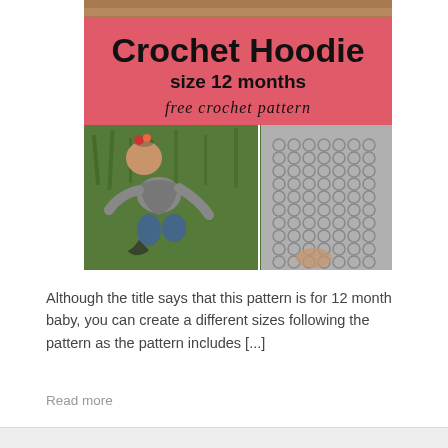[Figure (photo): Composite image showing a pink banner reading 'Crochet Hoodie size 12 months free crochet pattern' above two photos of a baby wearing a grey crocheted hoodie, lying on grass (left) and a close-up of the hoodie texture (right).]
Although the title says that this pattern is for 12 month baby, you can create a different sizes following the pattern as the pattern includes [...]
Read more